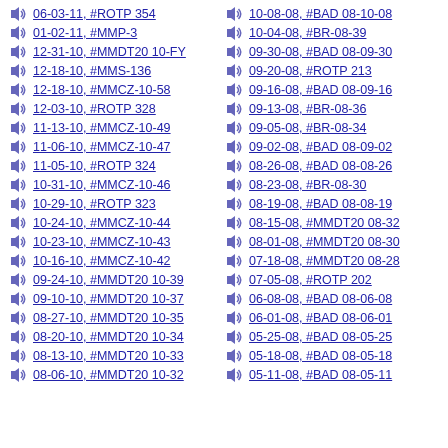06-03-11, #ROTP 354
01-02-11, #MMP-3
12-31-10, #MMDT20 10-FY
12-18-10, #MMS-136
12-18-10, #MMCZ-10-58
12-03-10, #ROTP 328
11-13-10, #MMCZ-10-49
11-06-10, #MMCZ-10-47
11-05-10, #ROTP 324
10-31-10, #MMCZ-10-46
10-29-10, #ROTP 323
10-24-10, #MMCZ-10-44
10-23-10, #MMCZ-10-43
10-16-10, #MMCZ-10-42
09-24-10, #MMDT20 10-39
09-10-10, #MMDT20 10-37
08-27-10, #MMDT20 10-35
08-20-10, #MMDT20 10-34
08-13-10, #MMDT20 10-33
08-06-10, #MMDT20 10-32
10-08-08, #BAD 08-10-08
10-04-08, #BR-08-39
09-30-08, #BAD 08-09-30
09-20-08, #ROTP 213
09-16-08, #BAD 08-09-16
09-13-08, #BR-08-36
09-05-08, #BR-08-34
09-02-08, #BAD 08-09-02
08-26-08, #BAD 08-08-26
08-23-08, #BR-08-30
08-19-08, #BAD 08-08-19
08-15-08, #MMDT20 08-32
08-01-08, #MMDT20 08-30
07-18-08, #MMDT20 08-28
07-05-08, #ROTP 202
06-08-08, #BAD 08-06-08
06-01-08, #BAD 08-06-01
05-25-08, #BAD 08-05-25
05-18-08, #BAD 08-05-18
05-11-08, #BAD 08-05-11